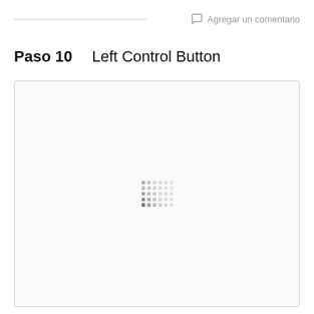Agregar un comentario
Paso 10    Left Control Button
[Figure (photo): Large image placeholder box with a loading spinner (dot matrix pattern) centered inside, indicating an image is loading. The box has a light gray border and white/near-white background.]